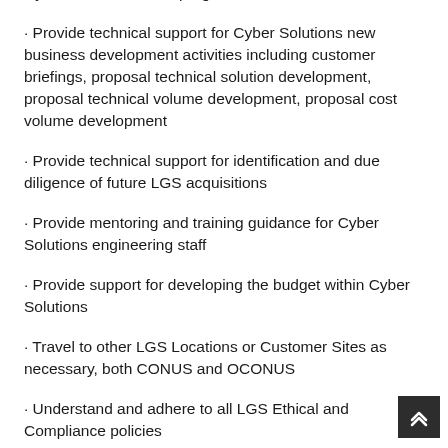Cyber Solutions IRAD program
· Provide technical support for Cyber Solutions new business development activities including customer briefings, proposal technical solution development, proposal technical volume development, proposal cost volume development
· Provide technical support for identification and due diligence of future LGS acquisitions
· Provide mentoring and training guidance for Cyber Solutions engineering staff
· Provide support for developing the budget within Cyber Solutions
· Travel to other LGS Locations or Customer Sites as necessary, both CONUS and OCONUS
· Understand and adhere to all LGS Ethical and Compliance policies
· Proactively ensure a safe work environment and